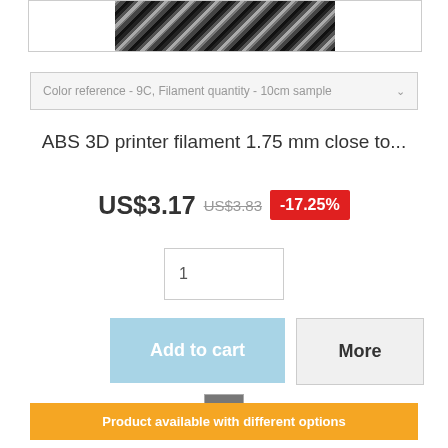[Figure (photo): Close-up photo of black ABS 3D printer filament strands]
Color reference - 9C, Filament quantity - 10cm sample
ABS 3D printer filament 1.75 mm close to...
US$3.17  US$3.83  -17.25%
1
Add to cart
More
[Figure (other): Gray color swatch square]
Product available with different options